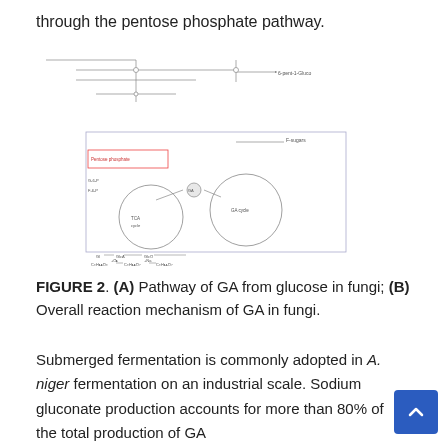through the pentose phosphate pathway.
[Figure (schematic): Metabolic pathway diagram showing GA production from glucose in fungi, including the pentose phosphate pathway, TCA cycle circles, and reaction steps with labeled intermediates and arrows.]
FIGURE 2. (A) Pathway of GA from glucose in fungi; (B) Overall reaction mechanism of GA in fungi.
Submerged fermentation is commonly adopted in A. niger fermentation on an industrial scale. Sodium gluconate production accounts for more than 80% of the total production of GA